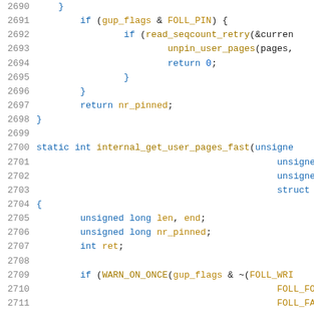[Figure (screenshot): Source code listing showing C code (Linux kernel style), lines 2690-2711, with syntax highlighting. Keywords in blue, function names in gold, line numbers in gray.]